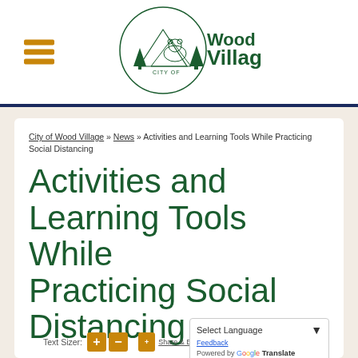[Figure (logo): City of Wood Village circular logo with mountain, tree, and bear imagery, with text 'CITY OF Wood Village']
City of Wood Village » News » Activities and Learning Tools While Practicing Social Distancing
Activities and Learning Tools While Practicing Social Distancing